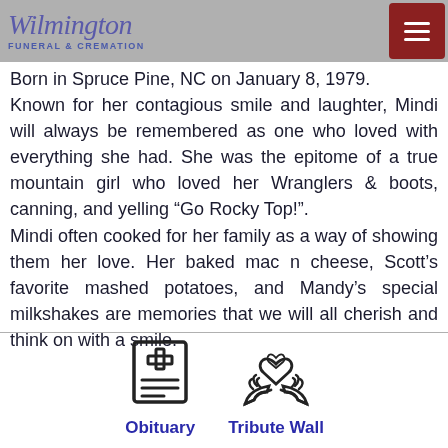Wilmington Funeral & Cremation
Born in Spruce Pine, NC on January 8, 1979. Known for her contagious smile and laughter, Mindi will always be remembered as one who loved with everything she had. She was the epitome of a true mountain girl who loved her Wranglers & boots, canning, and yelling “Go Rocky Top!”. Mindi often cooked for her family as a way of showing them her love. Her baked mac n cheese, Scott’s favorite mashed potatoes, and Mandy’s special milkshakes are memories that we will all cherish and think on with a smile.
[Figure (illustration): Obituary icon - document with cross symbol]
Obituary
[Figure (illustration): Tribute Wall icon - hands holding heart]
Tribute Wall